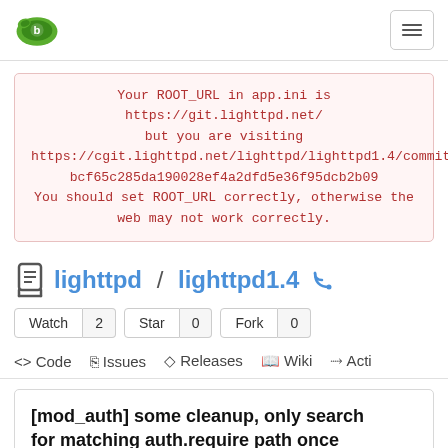lighttpd / lighttpd1.4 — Gitea navigation header
Your ROOT_URL in app.ini is https://git.lighttpd.net/ but you are visiting https://cgit.lighttpd.net/lighttpd/lighttpd1.4/commit/2bcf65c285da190028ef4a2dfd5e36f95dcb2b09 You should set ROOT_URL correctly, otherwise the web may not work correctly.
lighttpd / lighttpd1.4
Watch 2   Star 0   Fork 0
<> Code   Issues   Releases   Wiki   Acti
[mod_auth] some cleanup, only search for matching auth.require path once